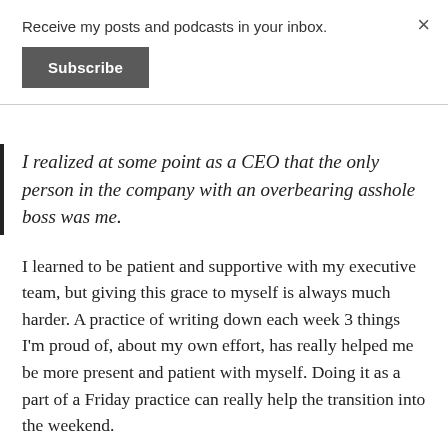Receive my posts and podcasts in your inbox.
Subscribe
×
I realized at some point as a CEO that the only person in the company with an overbearing asshole boss was me.
I learned to be patient and supportive with my executive team, but giving this grace to myself is always much harder. A practice of writing down each week 3 things I'm proud of, about my own effort, has really helped me be more present and patient with myself. Doing it as a part of a Friday practice can really help the transition into the weekend.